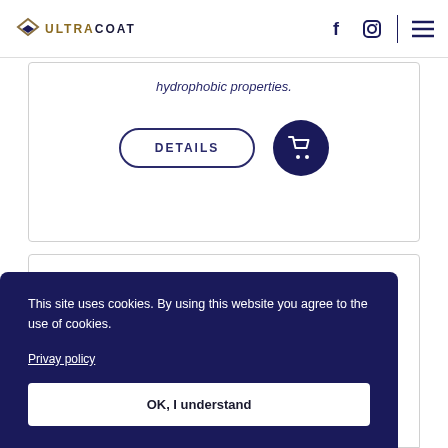ULTRACOAT
hydrophobic properties.
DETAILS
This site uses cookies. By using this website you agree to the use of cookies.
Privay policy
OK, I understand